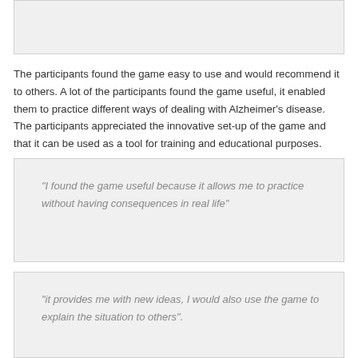[Figure (other): Gray shaded box at the top of the page]
The participants found the game easy to use and would recommend it to others. A lot of the participants found the game useful, it enabled them to practice different ways of dealing with Alzheimer's disease. The participants appreciated the innovative set-up of the game and that it can be used as a tool for training and educational purposes.
“I found the game useful because it allows me to practice without having consequences in real life”
“it provides me with new ideas, I would also use the game to explain the situation to others”.